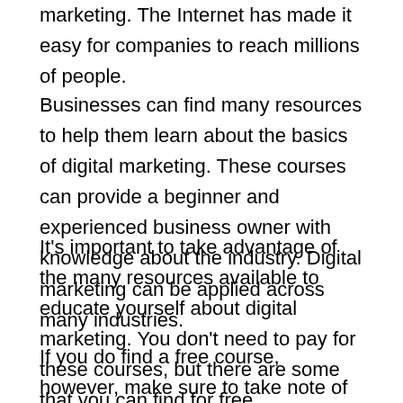marketing. The Internet has made it easy for companies to reach millions of people.
Businesses can find many resources to help them learn about the basics of digital marketing. These courses can provide a beginner and experienced business owner with knowledge about the industry. Digital marketing can be applied across many industries.
It's important to take advantage of the many resources available to educate yourself about digital marketing. You don't need to pay for these courses, but there are some that you can find for free.
If you do find a free course, however, make sure to take note of all of the information provided. It's not always the